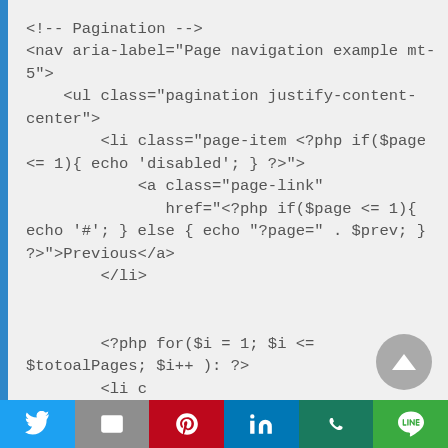[Figure (screenshot): Code screenshot showing PHP pagination HTML snippet with a blue left border bar on a light gray background]
Social share buttons: Twitter, Gmail, Pinterest, LinkedIn, WhatsApp, LINE